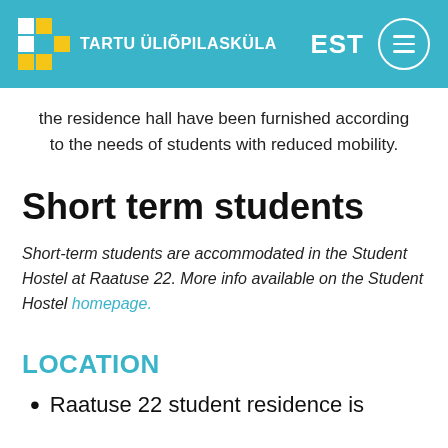TARTU ÜLIÕPILASKÜLA — EST
the residence hall have been furnished according to the needs of students with reduced mobility.
Short term students
Short-term students are accommodated in the Student Hostel at Raatuse 22. More info available on the Student Hostel homepage.
LOCATION
Raatuse 22 student residence is